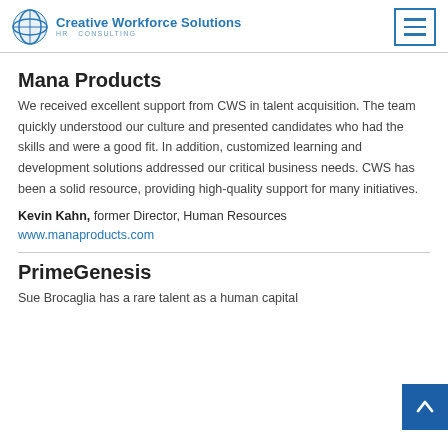Creative Workforce Solutions HR CONSULTING
Mana Products
We received excellent support from CWS in talent acquisition. The team quickly understood our culture and presented candidates who had the skills and were a good fit. In addition, customized learning and development solutions addressed our critical business needs. CWS has been a solid resource, providing high-quality support for many initiatives.
Kevin Kahn, former Director, Human Resources
www.manaproducts.com
PrimeGenesis
Sue Brocaglia has a rare talent as a human capital